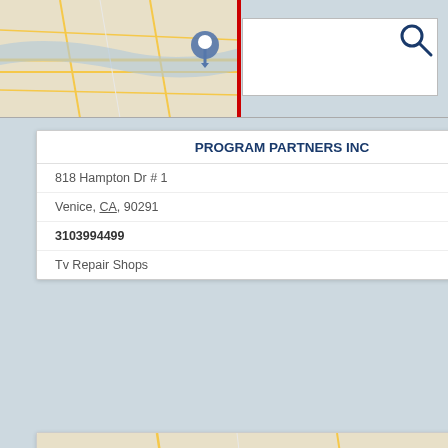[Figure (screenshot): Search bar UI with map background on left and white input field on right with search icon]
PROGRAM PARTNERS INC
818 Hampton Dr # 1
Venice, CA, 90291
3103994499
Tv Repair Shops
[Figure (map): Street map thumbnail with location pin marker for Proline Moves in Venice CA]
PROLINE MOVES
20 Horizon Ave
Venice, CA, 90291
3103468057
Boxes
[Figure (map): Street map thumbnail with location pin marker for third listing]